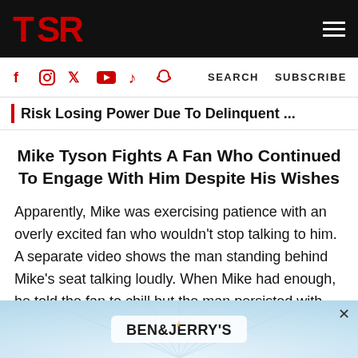TSR
Risk Losing Power Due To Delinquent ...
Mike Tyson Fights A Fan Who Continued To Engage With Him Despite His Wishes
Apparently, Mike was exercising patience with an overly excited fan who wouldn't stop talking to him. A separate video shows the man standing behind Mike's seat talking loudly. When Mike had enough, he told the fan to chill but the man persisted with the conversation attempts. At one point,
[Figure (logo): Ben & Jerry's advertisement banner at bottom of page]